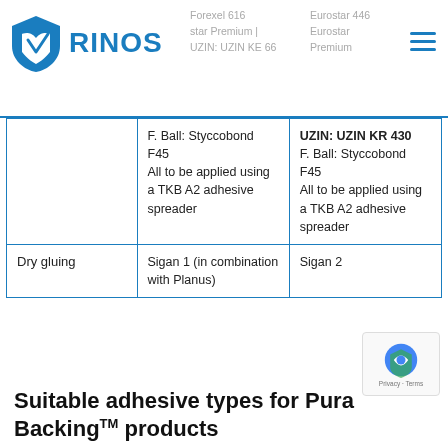RINOS
|  | Col 2 | Col 3 |
| --- | --- | --- |
|  | F. Ball: Styccobond F45
All to be applied using a TKB A2 adhesive spreader | UZIN: UZIN KR 430
F. Ball: Styccobond F45
All to be applied using a TKB A2 adhesive spreader |
| Dry gluing | Sigan 1 (in combination with Planus) | Sigan 2 |
Suitable adhesive types for PuraBacking™ products